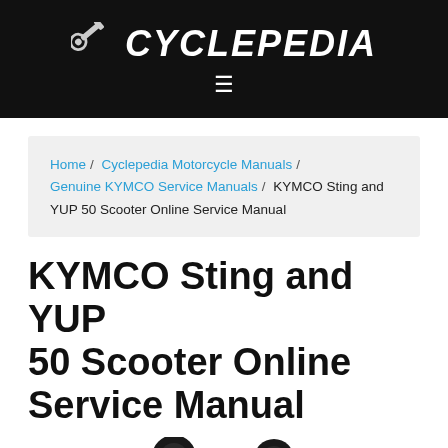CYCLEPEDIA
Home / Cyclepedia Motorcycle Manuals / Genuine KYMCO Service Manuals / KYMCO Sting and YUP 50 Scooter Online Service Manual
KYMCO Sting and YUP 50 Scooter Online Service Manual
[Figure (photo): Partial image of a red scooter (KYMCO Sting or YUP 50) viewed from the front/side, showing handlebars and front section.]